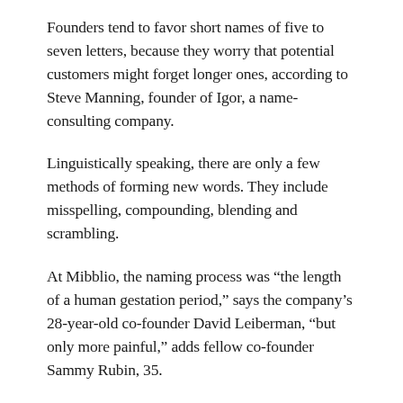Founders tend to favor short names of five to seven letters, because they worry that potential customers might forget longer ones, according to Steve Manning, founder of Igor, a name-consulting company.
Linguistically speaking, there are only a few methods of forming new words. They include misspelling, compounding, blending and scrambling.
At Mibblio, the naming process was “the length of a human gestation period,” says the company’s 28-year-old co-founder David Leiberman, “but only more painful,” adds fellow co-founder Sammy Rubin, 35.
The two men made several trips back to the drawing board; early contenders included Babethoven, Yipsqueak and Canarytales, but none was a perfect fit. One they both loved, Squeakbox, was taken.